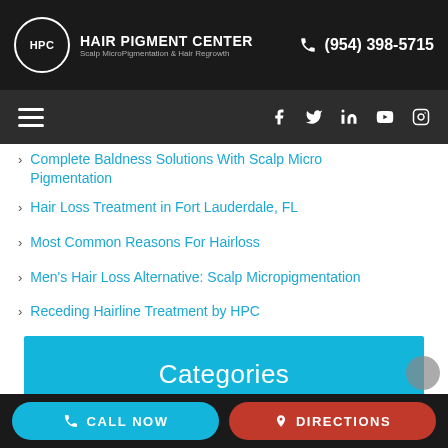HPC HAIR PIGMENT CENTER Scalp MicroPigmentation & Hair Regrowth | (954) 398-5715
[Figure (screenshot): Navigation bar with hamburger menu and social icons (Facebook, Twitter, LinkedIn, YouTube, Instagram)]
Complete Baldness Solutions With Scalp Micro Pigmentation
Hair Loss Treatment in Fort Lauderdale, FL
Most Common Reasons For Hairloss
Men's Hair Loss Alternative: Scalp Micropigmentation
Receding Hairline Treatment by HPC
Categories
CALL NOW | DIRECTIONS